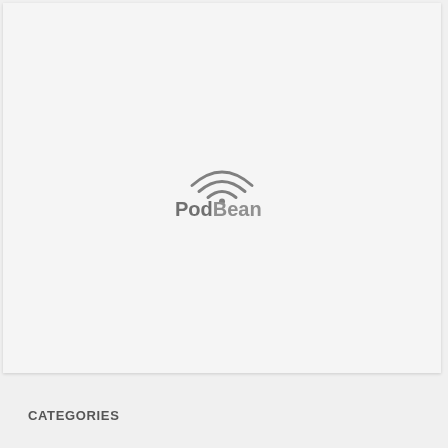[Figure (logo): PodBean logo with wifi/signal arc above text and loading dots below]
CATEGORIES